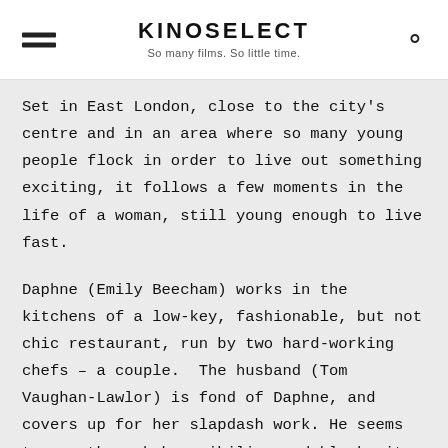KINOSELECT — So many films. So little time.
Set in East London, close to the city's centre and in an area where so many young people flock in order to live out something exciting, it follows a few moments in the life of a woman, still young enough to live fast.
Daphne (Emily Beecham) works in the kitchens of a low-key, fashionable, but not chic restaurant, run by two hard-working chefs – a couple. The husband (Tom Vaughan-Lawlor) is fond of Daphne, and covers up for her slapdash work. He seems to see through her nihilism and bleak wit. Perhaps she was different before. Her mother (Geraldine